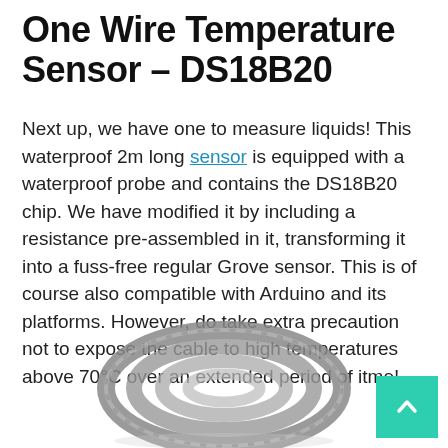One Wire Temperature Sensor – DS18B20
Next up, we have one to measure liquids! This waterproof 2m long sensor is equipped with a waterproof probe and contains the DS18B20 chip. We have modified it by including a resistance pre-assembled in it, transforming it into a fuss-free regular Grove sensor. This is of course also compatible with Arduino and its platforms. However, do take extra precaution not to expose the cable to high temperatures above 70°C over an extended period of itme!
[Figure (photo): A coiled grey waterproof cable sensor (DS18B20) photographed from above, showing the coiled wire probe.]